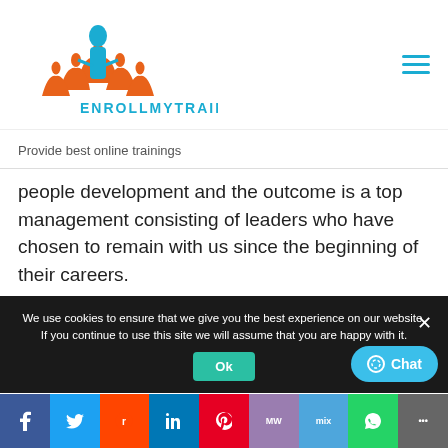[Figure (logo): EnrollMyTraining logo with orange/blue people figures and cyan text ENROLLMYTRAINING]
Provide best online trainings
people development and the outcome is a top management consisting of leaders who have chosen to remain with us since the beginning of their careers.
Were there any new employee benefits introduced
We use cookies to ensure that we give you the best experience on our website. If you continue to use this site we will assume that you are happy with it.
[Figure (infographic): Social sharing bar with Facebook, Twitter, Reddit, LinkedIn, Pinterest, MeWe, Mix, WhatsApp, More buttons]